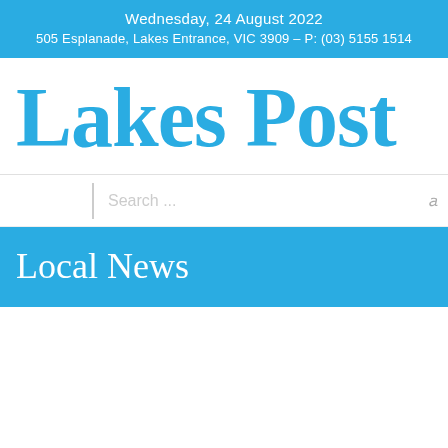Wednesday, 24 August 2022
505 Esplanade, Lakes Entrance, VIC 3909 – P: (03) 5155 1514
Lakes Post
Search ...
Local News